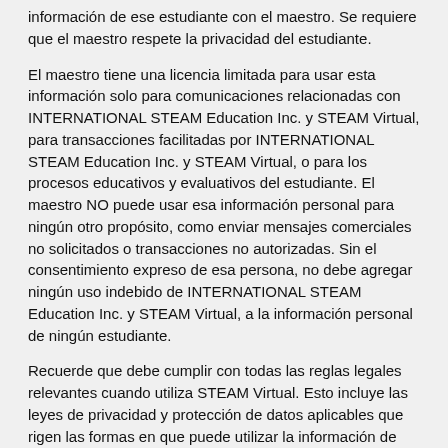información de ese estudiante con el maestro. Se requiere que el maestro respete la privacidad del estudiante.
El maestro tiene una licencia limitada para usar esta información solo para comunicaciones relacionadas con INTERNATIONAL STEAM Education Inc. y STEAM Virtual, para transacciones facilitadas por INTERNATIONAL STEAM Education Inc. y STEAM Virtual, o para los procesos educativos y evaluativos del estudiante. El maestro NO puede usar esa información personal para ningún otro propósito, como enviar mensajes comerciales no solicitados o transacciones no autorizadas. Sin el consentimiento expreso de esa persona, no debe agregar ningún uso indebido de INTERNATIONAL STEAM Education Inc. y STEAM Virtual, a la información personal de ningún estudiante.
Recuerde que debe cumplir con todas las reglas legales relevantes cuando utiliza STEAM Virtual. Esto incluye las leyes de privacidad y protección de datos aplicables que rigen las formas en que puede utilizar la información de otro usuario de INTERNATIONAL STEAM Education Inc. y STEAM Virtual.
10. Enseñar o participar en una clase